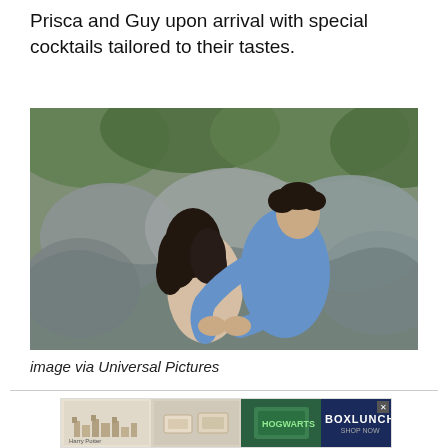Prisca and Guy upon arrival with special cocktails tailored to their tastes.
[Figure (photo): A man in a blue shirt embracing a woman with dark curly hair, rocky natural backdrop, appears to be a movie still.]
image via Universal Pictures
[Figure (screenshot): Video player interface with dark background and a play button arrow icon.]
[Figure (other): BoxLunch advertisement banner showing Harry Potter themed products.]